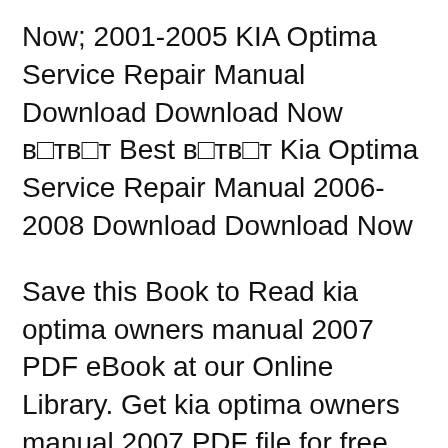Now; 2001-2005 KIA Optima Service Repair Manual Download Download Now в☐тв☐т Best в☐тв☐т Kia Optima Service Repair Manual 2006-2008 Download Download Now
Save this Book to Read kia optima owners manual 2007 PDF eBook at our Online Library. Get kia optima owners manual 2007 PDF file for free from our online library page 0 - Kia Optima Magentis Lotze owners manual - Manuals for Cars, Car's manuals, many producers, owner manuals, service manuals from pdf files
KIA Optima 2007 2.G Owner's Manuals and Service Manuals for online browsing